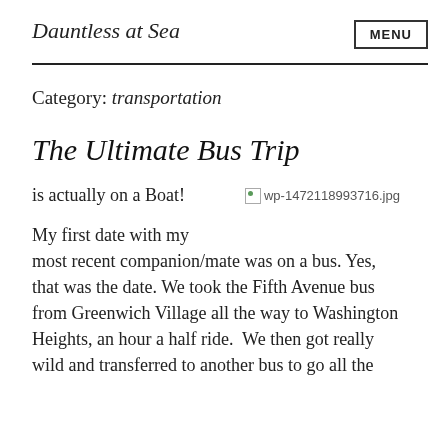Dauntless at Sea
Category: transportation
The Ultimate Bus Trip
is actually on a Boat!
[Figure (photo): Broken image placeholder: wp-1472118993716.jpg]
My first date with my most recent companion/mate was on a bus. Yes, that was the date. We took the Fifth Avenue bus from Greenwich Village all the way to Washington Heights, an hour a half ride.  We then got really wild and transferred to another bus to go all the